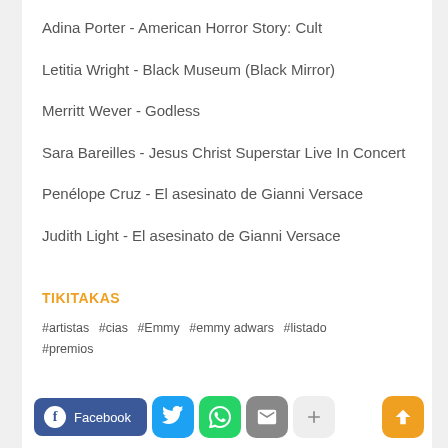Adina Porter - American Horror Story: Cult
Letitia Wright - Black Museum (Black Mirror)
Merritt Wever - Godless
Sara Bareilles - Jesus Christ Superstar Live In Concert
Penélope Cruz - El asesinato de Gianni Versace
Judith Light - El asesinato de Gianni Versace
TIKITAKAS
#artistas  #cias  #Emmy  #emmy adwars  #listado  #premios